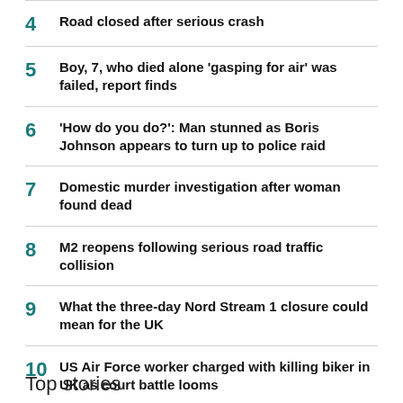4  Road closed after serious crash
5  Boy, 7, who died alone 'gasping for air' was failed, report finds
6  'How do you do?': Man stunned as Boris Johnson appears to turn up to police raid
7  Domestic murder investigation after woman found dead
8  M2 reopens following serious road traffic collision
9  What the three-day Nord Stream 1 closure could mean for the UK
10  US Air Force worker charged with killing biker in UK as court battle looms
Top stories